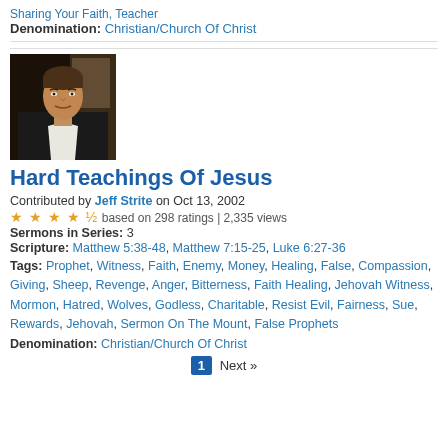Sharing Your Faith, Teacher
Denomination: Christian/Church Of Christ
[Figure (photo): Photo of a middle-aged man in a dark jacket and white shirt, speaking or presenting]
Hard Teachings Of Jesus
Contributed by Jeff Strite on Oct 13, 2002
★★★★½ based on 298 ratings | 2,335 views
Sermons in Series: 3
Scripture: Matthew 5:38-48, Matthew 7:15-25, Luke 6:27-36
Tags: Prophet, Witness, Faith, Enemy, Money, Healing, False, Compassion, Giving, Sheep, Revenge, Anger, Bitterness, Faith Healing, Jehovah Witness, Mormon, Hatred, Wolves, Godless, Charitable, Resist Evil, Fairness, Sue, Rewards, Jehovah, Sermon On The Mount, False Prophets
Denomination: Christian/Church Of Christ
1  Next »